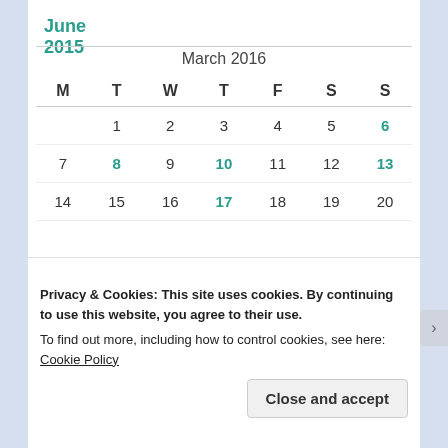June 2015
| M | T | W | T | F | S | S |
| --- | --- | --- | --- | --- | --- | --- |
|  | 1 | 2 | 3 | 4 | 5 | 6 |
| 7 | 8 | 9 | 10 | 11 | 12 | 13 |
| 14 | 15 | 16 | 17 | 18 | 19 | 20 |
March 2016
Privacy & Cookies: This site uses cookies. By continuing to use this website, you agree to their use.
To find out more, including how to control cookies, see here: Cookie Policy